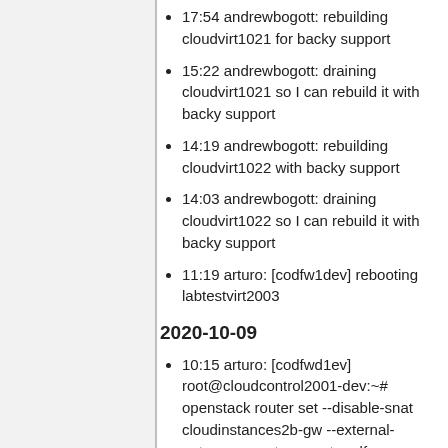17:54 andrewbogott: rebuilding cloudvirt1021 for backy support
15:22 andrewbogott: draining cloudvirt1021 so I can rebuild it with backy support
14:19 andrewbogott: rebuilding cloudvirt1022 with backy support
14:03 andrewbogott: draining cloudvirt1022 so I can rebuild it with backy support
11:19 arturo: [codfw1dev] rebooting labtestvirt2003
2020-10-09
10:15 arturo: [codfwd1ev] root@cloudcontrol2001-dev:~# openstack router set --disable-snat cloudinstances2b-gw --external-gateway wan-transport-codfw (T261724)